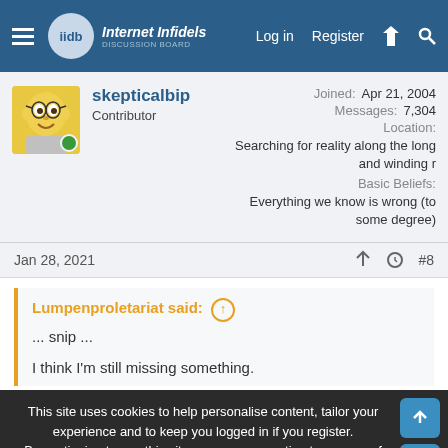Internet Infidels discussion board — Log in | Register
skepticalbip
Contributor
Joined: Apr 21, 2004
Messages: 7,304
Location: Searching for reality along the long and winding r
Basic Beliefs: Everything we know is wrong (to some degree)
Jan 28, 2021  #8
Lumpenproletariat said: ↑

... snip ...

I think I'm still missing something.
This site uses cookies to help personalise content, tailor your experience and to keep you logged in if you register.
By continuing to use this site, you are consenting to our use of cookies.